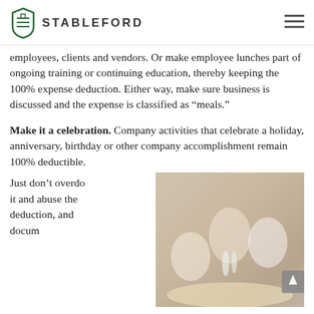STABLEFORD
employees, clients and vendors. Or make employee lunches part of ongoing training or continuing education, thereby keeping the 100% expense deduction. Either way, make sure business is discussed and the expense is classified as “meals.”
Make it a celebration. Company activities that celebrate a holiday, anniversary, birthday or other company accomplishment remain 100% deductible. Just don’t overdo it and abuse the deduction, and docum...
[Figure (photo): People at a celebration/party clinking champagne glasses at a dining table, with waitstaff in background]